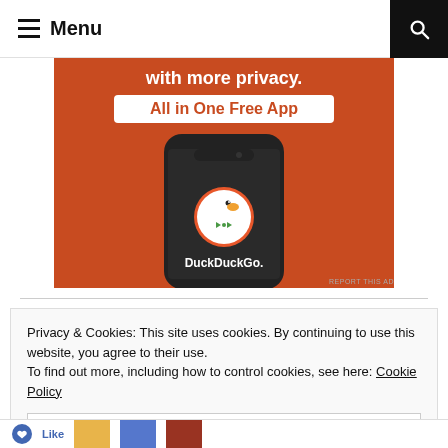Menu
[Figure (illustration): DuckDuckGo advertisement showing a smartphone with DuckDuckGo app. Orange background with white text 'with more privacy.' and 'All in One Free App' pill button. Phone displays DuckDuckGo duck logo and name.]
REPORT THIS AD
Privacy & Cookies: This site uses cookies. By continuing to use this website, you agree to their use.
To find out more, including how to control cookies, see here: Cookie Policy
Close and accept